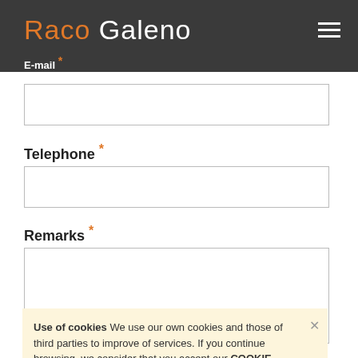Raco Galeno
E-mail *
Telephone *
Remarks *
Use of cookies We use our own cookies and those of third parties to improve of services. If you continue browsing, we consider that you accept our COOKIE POLICY.
the company's following privacy policy. *